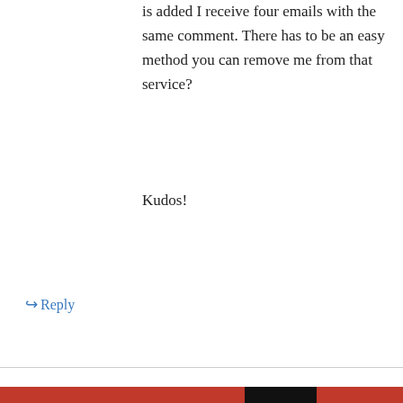is added I receive four emails with the same comment. There has to be an easy method you can remove me from that service?
Kudos!
↪ Reply
Fitness Technology 2014 on October 4, 2014 at 2:05 am
The reputation that you simply encourage people
Privacy & Cookies: This site uses cookies. By continuing to use this website, you agree to their use. To find out more, including how to control cookies, see here: Cookie Policy
Close and accept